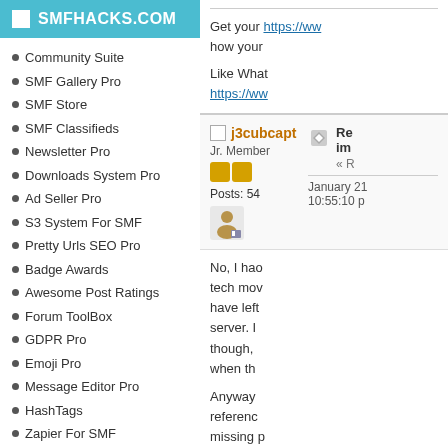SMFHACKS.COM
Community Suite
SMF Gallery Pro
SMF Store
SMF Classifieds
Newsletter Pro
Downloads System Pro
Ad Seller Pro
S3 System For SMF
Pretty Urls SEO Pro
Badge Awards
Awesome Post Ratings
Forum ToolBox
GDPR Pro
Emoji Pro
Message Editor Pro
HashTags
Zapier For SMF
SMF Modifications
Latest SMF Modifications
TopTen Modifications
Styles and Themes
Add a Modification
Manage Modifications
Earn Money from Your
Get your https://ww how your
Like What https://ww
j3cubcapt
Jr. Member
Posts: 54
January 21 10:55:10 p
« R
No, I hao tech mov have left server. I though, when th

Anyway referenc missing p